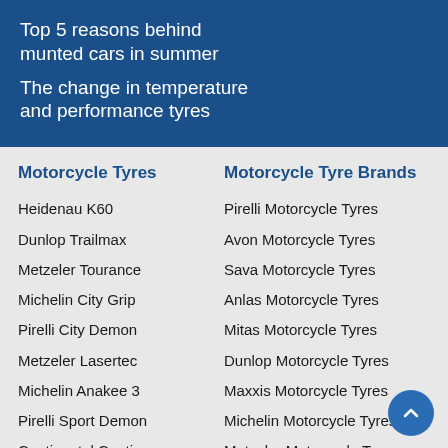Top 5 reasons behind munted cars in summer
The change in temperature and performance tyres
Motorcycle Tyres
Heidenau K60
Dunlop Trailmax
Metzeler Tourance
Michelin City Grip
Pirelli City Demon
Metzeler Lasertec
Michelin Anakee 3
Pirelli Sport Demon
Continental Contigo
Michelin Pilot Power
Motorcycle Tyre Brands
Pirelli Motorcycle Tyres
Avon Motorcycle Tyres
Sava Motorcycle Tyres
Anlas Motorcycle Tyres
Mitas Motorcycle Tyres
Dunlop Motorcycle Tyres
Maxxis Motorcycle Tyres
Michelin Motorcycle Tyres
Metzeler Motorcycle Tyres
Heidepau Motorcycle Tyres